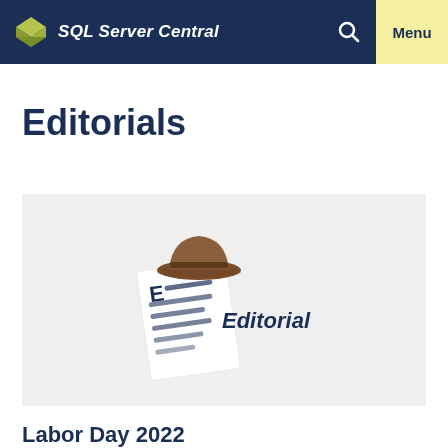SQL Server Central  Menu
Editorials
[Figure (illustration): Editorial icon: a document page with blue text lines and a brown cowboy hat on top, next to italic bold text reading 'Editorial', on a light grey background.]
Labor Day 2022